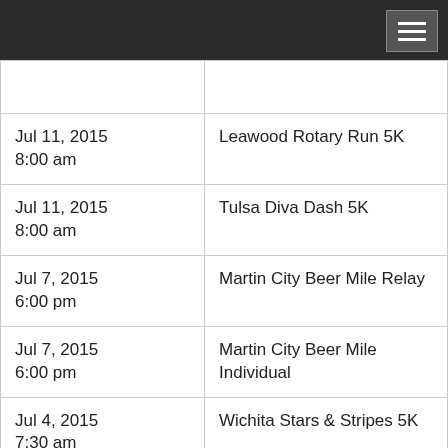| Date | Event |
| --- | --- |
|  |  |
| Jul 11, 2015
8:00 am | Leawood Rotary Run 5K |
| Jul 11, 2015
8:00 am | Tulsa Diva Dash 5K |
| Jul 7, 2015
6:00 pm | Martin City Beer Mile Relay |
| Jul 7, 2015
6:00 pm | Martin City Beer Mile Individual |
| Jul 4, 2015
7:30 am | Wichita Stars & Stripes 5K |